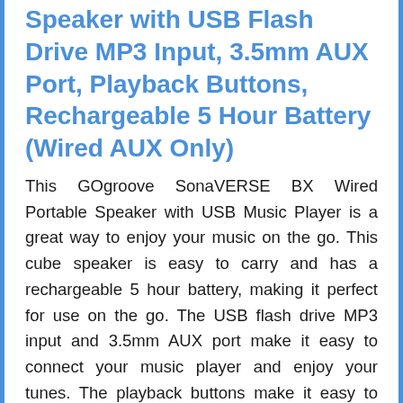Speaker with USB Flash Drive MP3 Input, 3.5mm AUX Port, Playback Buttons, Rechargeable 5 Hour Battery (Wired AUX Only)
This GOgroove SonaVERSE BX Wired Portable Speaker with USB Music Player is a great way to enjoy your music on the go. This cube speaker is easy to carry and has a rechargeable 5 hour battery, making it perfect for use on the go. The USB flash drive MP3 input and 3.5mm AUX port make it easy to connect your music player and enjoy your tunes. The playback buttons make it easy to control your music, and the speaker also has a built in